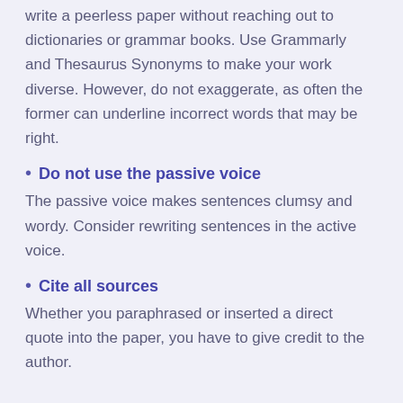write a peerless paper without reaching out to dictionaries or grammar books. Use Grammarly and Thesaurus Synonyms to make your work diverse. However, do not exaggerate, as often the former can underline incorrect words that may be right.
Do not use the passive voice
The passive voice makes sentences clumsy and wordy. Consider rewriting sentences in the active voice.
Cite all sources
Whether you paraphrased or inserted a direct quote into the paper, you have to give credit to the author.